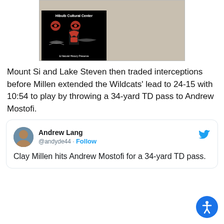[Figure (logo): Hibulb Cultural Center & Natural History Preserve logo on a tan/beige background. Black box with red and black Northwest Coast Native art and white text reading 'Hibulb Cultural Center' and '& Natural History Preserve'.]
Mount Si and Lake Steven then traded interceptions before Millen extended the Wildcats' lead to 24-15 with 10:54 to play by throwing a 34-yard TD pass to Andrew Mostofi.
Andrew Lang @andyde44 · Follow
Clay Millen hits Andrew Mostofi for a 34-yard TD pass.